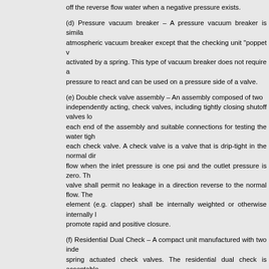off the reverse flow water when a negative pressure exists.
(d) Pressure vacuum breaker – A pressure vacuum breaker is similar to an atmospheric vacuum breaker except that the checking unit "poppet valve" is activated by a spring. This type of vacuum breaker does not require a negative pressure to react and can be used on a pressure side of a valve.
(e) Double check valve assembly – An assembly composed of two independently acting, check valves, including tightly closing shutoff valves located at each end of the assembly and suitable connections for testing the water tightness of each check valve. A check valve is a valve that is drip-tight in the normal direction of flow when the inlet pressure is one psi and the outlet pressure is zero. The check valve shall permit no leakage in a direction reverse to the normal flow. The closing element (e.g. clapper) shall be internally weighted or otherwise internally loaded to promote rapid and positive closure.
(f) Residential Dual Check – A compact unit manufactured with two independent, spring actuated check valves. The residential dual check is acceptable for providing added backflow prevention in areas served by reuse systems defined in Chapter 62-610, Part III, F.A.C., when the cross connection control program identifies hazards specific to (5)(a) and (5)(b) of this section.
Specific Authority 403.086(8), 403.861(9) FS. Law Implemented 403.852, 403.855(3) FS. History–New 11-19-87, Formerly 17-22.660, Amended 1-18-89, 1-1-91, 1-1-93, Formerly 17-555.360, Amended 8-28-03.
(5) Cross connection control programs specific to reuse systems defined in Chapter 62-610, Part III, F.A.C., shall consider the following: